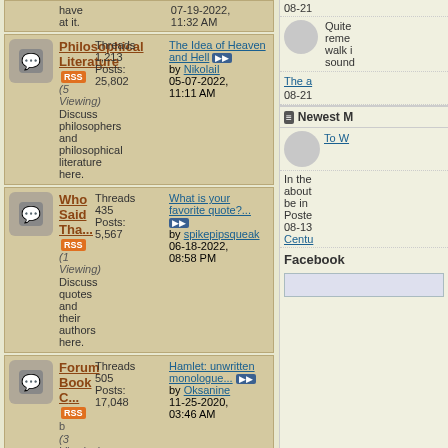have at it.
07-19-2022, 11:32 AM
Philosophical Literature RSS (5 Viewing) Discuss philosophers and philosophical literature here. Threads 1,213 Posts: 25,802 Last: The Idea of Heaven and Hell by NikolaiI 05-07-2022, 11:11 AM
Who Said Tha... RSS (1 Viewing) Discuss quotes and their authors here. Threads 435 Posts: 5,567 Last: What is your favorite quote?... by spikepipsqueak 06-18-2022, 08:58 PM
Forum Book C... RSS b (3 Viewing) Discuss a different book every month. Anyone can join. Threads 505 Posts: 17,048 Last: Hamlet: unwritten monologue... by Oksanine 11-25-2020, 03:46 AM
Discussion on Specific Authors & Books Threads / Posts Last Post
This forum is for specific discussion on any of the
08-21
Quite remember walk i sound
The a 08-21
Newest M
To W
In the about be in Posted 08-13 Centu
Facebook